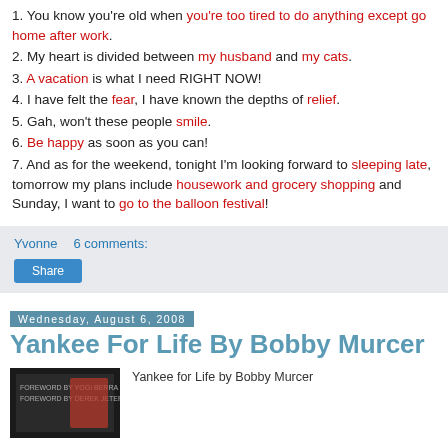1. You know you're old when you're too tired to do anything except go home after work.
2. My heart is divided between my husband and my cats.
3. A vacation is what I need RIGHT NOW!
4. I have felt the fear, I have known the depths of relief.
5. Gah, won't these people smile.
6. Be happy as soon as you can!
7. And as for the weekend, tonight I'm looking forward to sleeping late, tomorrow my plans include housework and grocery shopping and Sunday, I want to go to the balloon festival!
Yvonne   6 comments:
Share
Wednesday, August 6, 2008
Yankee For Life By Bobby Murcer
[Figure (photo): Book cover image for Yankee For Life by Bobby Murcer]
Yankee for Life by Bobby Murcer